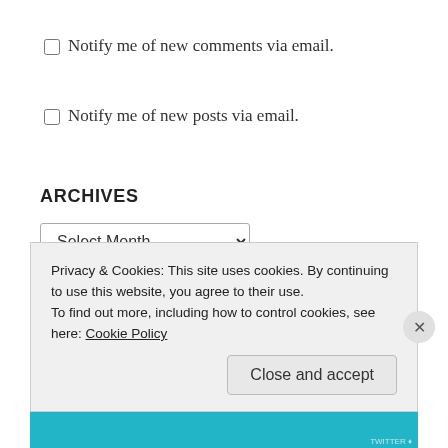Notify me of new comments via email.
Notify me of new posts via email.
ARCHIVES
Select Month
TWITTER
Privacy & Cookies: This site uses cookies. By continuing to use this website, you agree to their use.
To find out more, including how to control cookies, see here: Cookie Policy
Close and accept